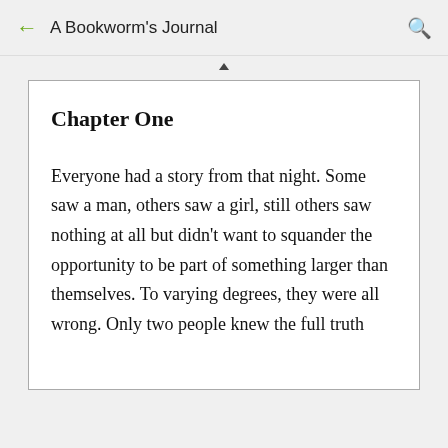A Bookworm's Journal
Chapter One
Everyone had a story from that night. Some saw a man, others saw a girl, still others saw nothing at all but didn't want to squander the opportunity to be part of something larger than themselves. To varying degrees, they were all wrong. Only two people knew the full truth